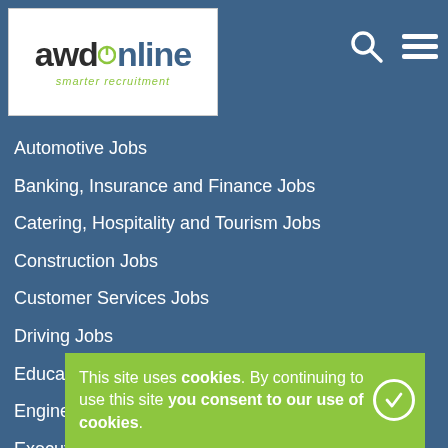[Figure (logo): AWD Online logo — 'awd' in dark text, 'online' in blue with green power button icon, tagline 'smarter recruitment' in green italic]
Automotive Jobs
Banking, Insurance and Finance Jobs
Catering, Hospitality and Tourism Jobs
Construction Jobs
Customer Services Jobs
Driving Jobs
Education Jobs
Engineering Jobs
Executive and Management Jobs
Government...
Graduate and Trainee Jobs
Healthcare and Medical Jobs
This site uses cookies. By continuing to use this site you consent to our use of cookies.